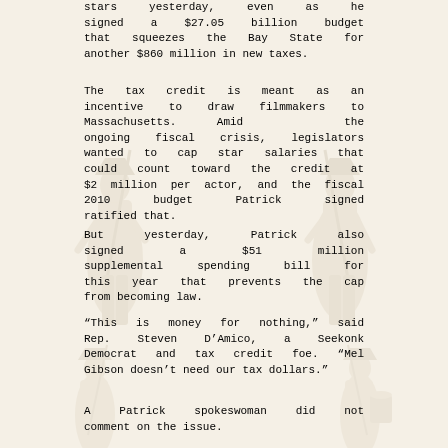stars yesterday, even as he signed a $27.05 billion budget that squeezes the Bay State for another $860 million in new taxes.
The tax credit is meant as an incentive to draw filmmakers to Massachusetts. Amid the ongoing fiscal crisis, legislators wanted to cap star salaries that could count toward the credit at $2 million per actor, and the fiscal 2010 budget Patrick signed ratified that.
But yesterday, Patrick also signed a $51 million supplemental spending bill for this year that prevents the cap from becoming law.
“This is money for nothing,” said Rep. Steven D’Amico, a Seekonk Democrat and tax credit foe. “Mel Gibson doesn’t need our tax dollars.”
A Patrick spokeswoman did not comment on the issue.